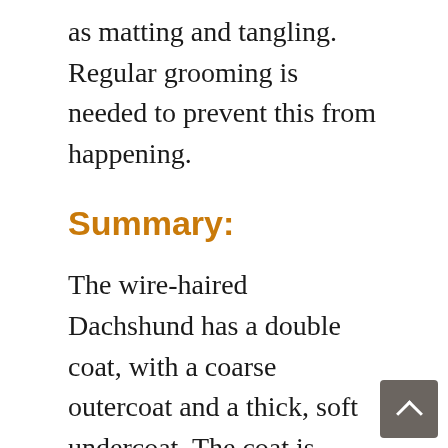as matting and tangling. Regular grooming is needed to prevent this from happening.
Summary:
The wire-haired Dachshund has a double coat, with a coarse outercoat and a thick, soft undercoat. The coat is naturally waterproof and sheds seasonally. The Dachshund needs regular brushing at least every seven days to clear the coat of dead hair to make it grow out evenly. It also ma the coat look neat. Brushing must be